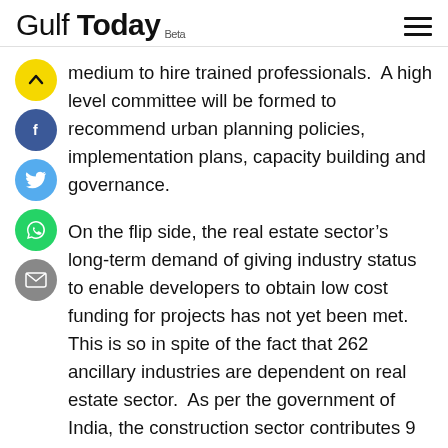Gulf Today Beta
medium to hire trained professionals. A high level committee will be formed to recommend urban planning policies, implementation plans, capacity building and governance.
On the flip side, the real estate sector’s long-term demand of giving industry status to enable developers to obtain low cost funding for projects has not yet been met. This is so in spite of the fact that 262 ancillary industries are dependent on real estate sector. As per the government of India, the construction sector contributes 9 pc of the GDP and employs 44 million workers, becoming the second-largest employer in India in 2017.